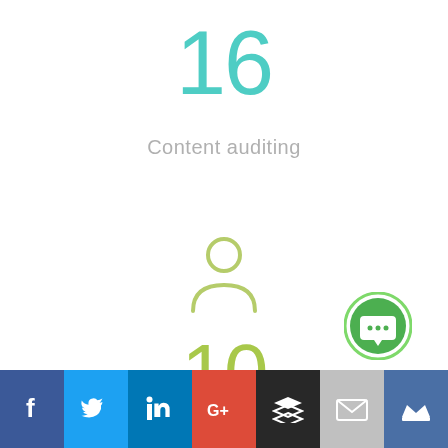16
Content auditing
[Figure (illustration): A light green person/user silhouette icon]
10
[Figure (illustration): A green circular button with a chat/comment icon]
[Figure (infographic): Social sharing bar with Facebook, Twitter, LinkedIn, Google+, Buffer, Email, and Crown icons]